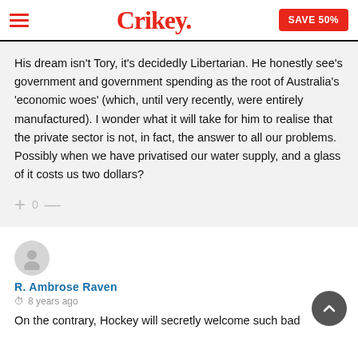Crikey.
His dream isn't Tory, it's decidedly Libertarian. He honestly see's government and government spending as the root of Australia's 'economic woes' (which, until very recently, were entirely manufactured). I wonder what it will take for him to realise that the private sector is not, in fact, the answer to all our problems. Possibly when we have privatised our water supply, and a glass of it costs us two dollars?
+ 0 —
R. Ambrose Raven · 8 years ago
On the contrary, Hockey will secretly welcome such bad